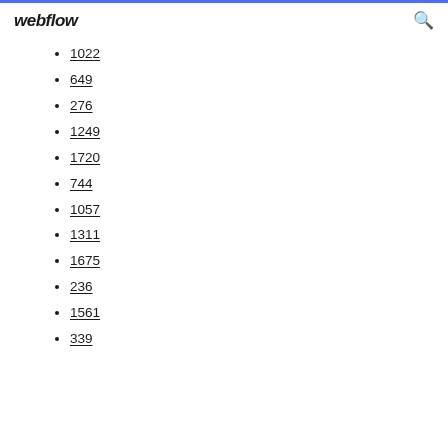webflow
1022
649
276
1249
1720
744
1057
1311
1675
236
1561
339